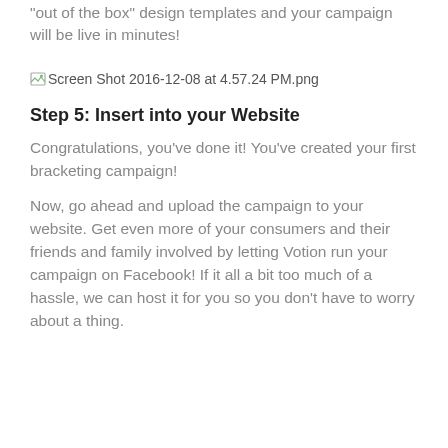“out of the box” design templates and your campaign will be live in minutes!
[Figure (screenshot): Broken image placeholder labeled: Screen Shot 2016-12-08 at 4.57.24 PM.png]
Step 5: Insert into your Website
Congratulations, you’ve done it! You’ve created your first bracketing campaign!
Now, go ahead and upload the campaign to your website. Get even more of your consumers and their friends and family involved by letting Votion run your campaign on Facebook! If it all a bit too much of a hassle, we can host it for you so you don’t have to worry about a thing.